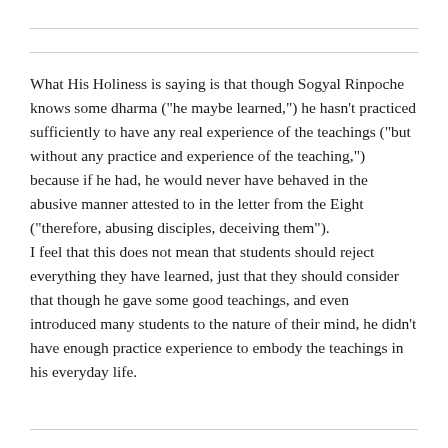What His Holiness is saying is that though Sogyal Rinpoche knows some dharma ("he maybe learned,") he hasn't practiced sufficiently to have any real experience of the teachings ("but without any practice and experience of the teaching,") because if he had, he would never have behaved in the abusive manner attested to in the letter from the Eight ("therefore, abusing disciples, deceiving them"). I feel that this does not mean that students should reject everything they have learned, just that they should consider that though he gave some good teachings, and even introduced many students to the nature of their mind, he didn't have enough practice experience to embody the teachings in his everyday life.